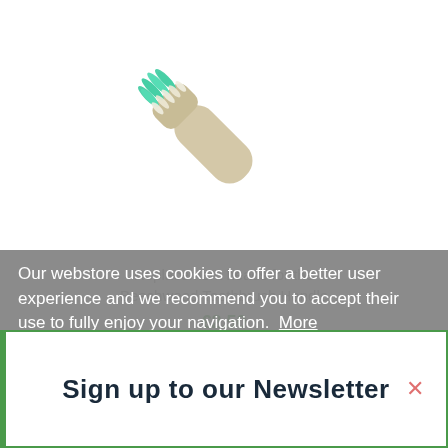[Figure (photo): A toothbrush replacement head with green and white bristles, angled diagonally against a white background]
Replacement heads for the Beechwood Toothbrush Handle
Our webstore uses cookies to offer a better user experience and we recommend you to accept their use to fully enjoy your navigation.  More information  customize cookies
Sign up to our Newsletter